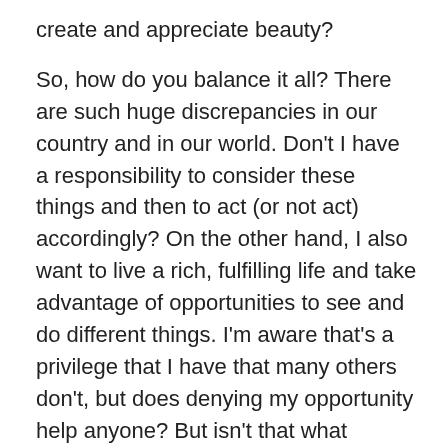create and appreciate beauty?

So, how do you balance it all? There are such huge discrepancies in our country and in our world. Don't I have a responsibility to consider these things and then to act (or not act) accordingly? On the other hand, I also want to live a rich, fulfilling life and take advantage of opportunities to see and do different things. I'm aware that's a privilege that I have that many others don't, but does denying my opportunity help anyone? But isn't that what people say all the time to justify doing what they want to do? I've been stewing over this for a few weeks and I hesitated to share today, because my thoughts keep spinning in circles, shifting and changing. Sometimes I wonder– Am I just looking way too deeply into all of this? Yet, it does disturb me. I'm in a quandary, struggling to figure it out. Does